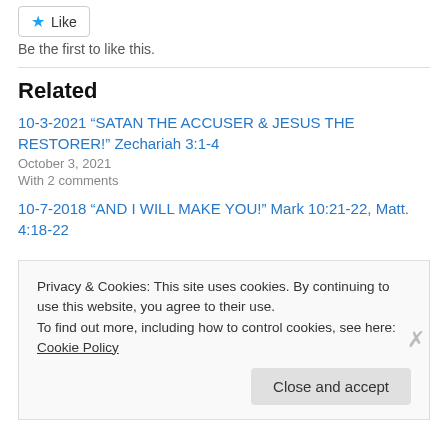[Figure (other): Like button with star icon]
Be the first to like this.
Related
10-3-2021 “SATAN THE ACCUSER & JESUS THE RESTORER!” Zechariah 3:1-4
October 3, 2021
With 2 comments
10-7-2018 “AND I WILL MAKE YOU!” Mark 10:21-22, Matt. 4:18-22
Privacy & Cookies: This site uses cookies. By continuing to use this website, you agree to their use.
To find out more, including how to control cookies, see here: Cookie Policy
Close and accept